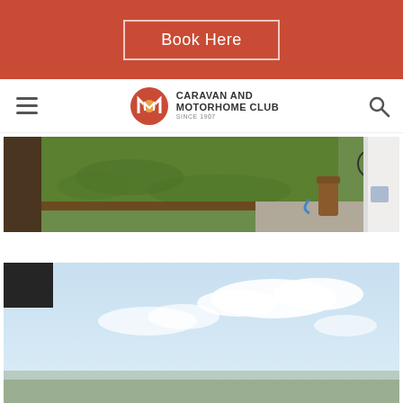Book Here
[Figure (other): Navigation bar with hamburger menu, Caravan and Motorhome Club logo, and search icon]
[Figure (photo): Outdoor camping site photo showing green grass lawn, a bicycle, a power/electric hookup pedestal, and a white motorhome or caravan on the right side]
[Figure (photo): Outdoor coastal or open field photo showing sky with clouds and open landscape view, with dark vehicle part visible at top left]